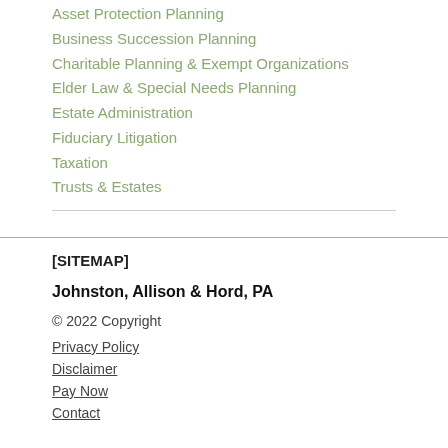Asset Protection Planning
Business Succession Planning
Charitable Planning & Exempt Organizations
Elder Law & Special Needs Planning
Estate Administration
Fiduciary Litigation
Taxation
Trusts & Estates
[SITEMAP]
Johnston, Allison & Hord, PA
© 2022 Copyright
Privacy Policy
Disclaimer
Pay Now
Contact